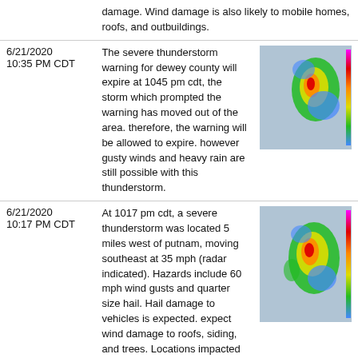damage. Wind damage is also likely to mobile homes, roofs, and outbuildings.
6/21/2020 10:35 PM CDT
The severe thunderstorm warning for dewey county will expire at 1045 pm cdt, the storm which prompted the warning has moved out of the area. therefore, the warning will be allowed to expire. however gusty winds and heavy rain are still possible with this thunderstorm.
[Figure (photo): Radar image showing severe thunderstorm activity with color-coded precipitation intensity]
6/21/2020 10:17 PM CDT
At 1017 pm cdt, a severe thunderstorm was located 5 miles west of putnam, moving southeast at 35 mph (radar indicated). Hazards include 60 mph wind gusts and quarter size hail. Hail damage to vehicles is expected. expect wind damage to roofs, siding, and trees. Locations impacted include, taloga, leedey, camargo, putnam and fay.
[Figure (photo): Radar image showing severe thunderstorm activity with color-coded precipitation intensity]
6/21/2020 9:55 PM CDT
At 955 pm cdt, a severe thunderstorm was located 5 miles east of camargo, moving southeast at 30 mph (radar indicated). Hazards include 60 mph wind gusts and quarter size hail. Hail damage to vehicles is expected. Expect wind damage to
[Figure (photo): Radar image showing severe thunderstorm activity with color-coded precipitation intensity on dark background]